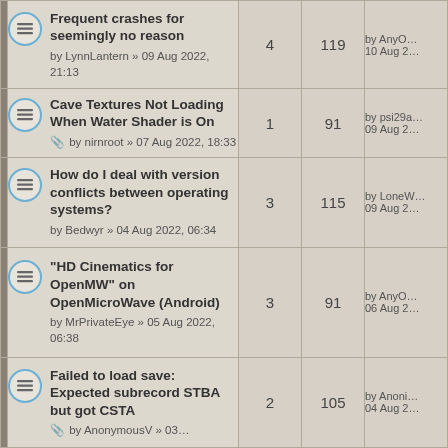|  | Topic | Replies | Views | Last post |
| --- | --- | --- | --- | --- |
|  | Frequent crashes for seemingly no reason
by LynnLantern » 09 Aug 2022, 21:13 | 4 | 119 | by AnyO…
10 Aug 2… |
|  | Cave Textures Not Loading When Water Shader is On
by nirnroot » 07 Aug 2022, 18:33 | 1 | 91 | by psi29a…
09 Aug 2… |
|  | How do I deal with version conflicts between operating systems?
by Bedwyr » 04 Aug 2022, 06:34 | 3 | 115 | by LoneW…
09 Aug 2… |
|  | "HD Cinematics for OpenMW" on OpenMicroWave (Android)
by MrPrivateEye » 05 Aug 2022, 06:38 | 3 | 91 | by AnyO…
06 Aug 2… |
|  | Failed to load save: Expected subrecord STBA but got CSTA
by AnonymousV » 03… | 2 | 105 | by Anoni…
04 Aug 2… |